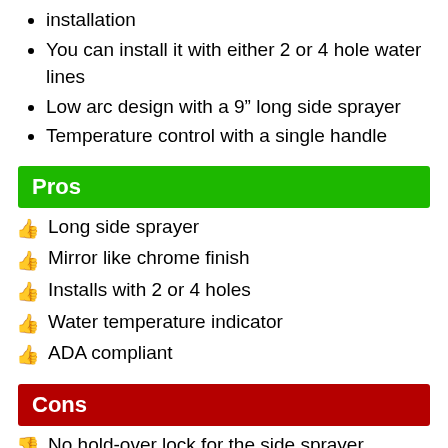installation
You can install it with either 2 or 4 hole water lines
Low arc design with a 9" long side sprayer
Temperature control with a single handle
Pros
Long side sprayer
Mirror like chrome finish
Installs with 2 or 4 holes
Water temperature indicator
ADA compliant
Cons
No hold-over lock for the side sprayer